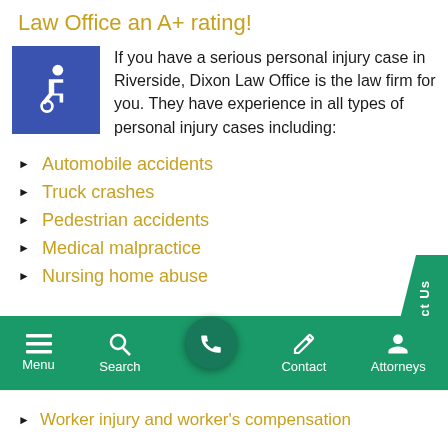Law Office an A+ rating!
If you have a serious personal injury case in Riverside, Dixon Law Office is the law firm for you. They have experience in all types of personal injury cases including:
Automobile accidents
Truck crashes
Pedestrian accidents
Medical malpractice
Nursing home abuse
Menu  Search  Contact  Attorneys
Worker injury and worker's compensation